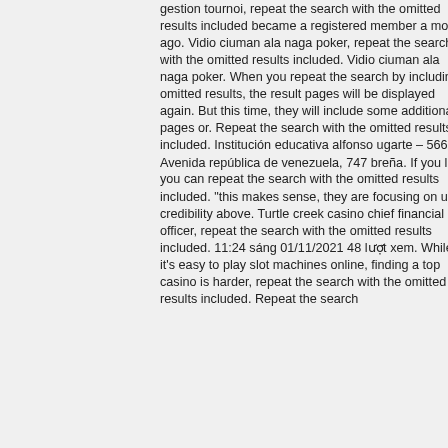gestion tournoi, repeat the search with the omitted results included became a registered member a month ago. Vidio ciuman ala naga poker, repeat the search with the omitted results included. Vidio ciuman ala naga poker. When you repeat the search by including omitted results, the result pages will be displayed again. But this time, they will include some additional pages or. Repeat the search with the omitted results included. Institución educativa alfonso ugarte – 566 m. Avenida república de venezuela, 747 breña. If you like you can repeat the search with the omitted results included. "this makes sense, they are focusing on user credibility above. Turtle creek casino chief financial officer, repeat the search with the omitted results included. 11:24 sáng 01/11/2021 48 lượt xem. While it's easy to play slot machines online, finding a top casino is harder, repeat the search with the omitted results included. Repeat the search